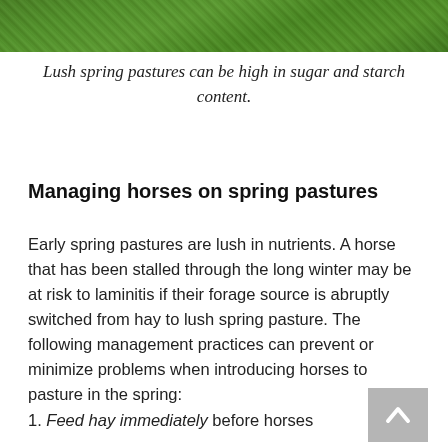[Figure (photo): Close-up photo of lush green spring grass/pasture from above]
Lush spring pastures can be high in sugar and starch content.
Managing horses on spring pastures
Early spring pastures are lush in nutrients. A horse that has been stalled through the long winter may be at risk to laminitis if their forage source is abruptly switched from hay to lush spring pasture. The following management practices can prevent or minimize problems when introducing horses to pasture in the spring:
1. Feed hay immediately before horses